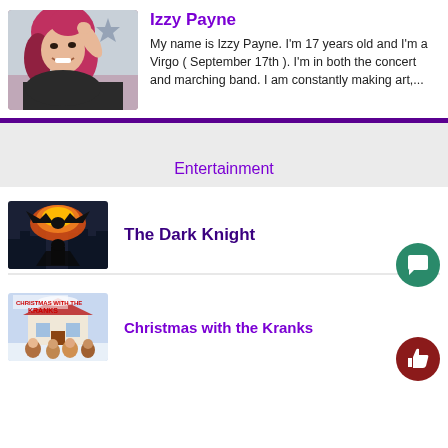[Figure (photo): Profile photo of Izzy Payne, a young woman with red/pink dyed hair, smiling]
Izzy Payne
My name is Izzy Payne. I'm 17 years old and I'm a Virgo ( September 17th ). I'm in both the concert and marching band. I am constantly making art,...
Entertainment
[Figure (photo): Movie poster for The Dark Knight showing Batman silhouette against fiery bat symbol over a city]
The Dark Knight
[Figure (photo): Movie poster for Christmas with the Kranks showing characters in holiday setting]
Christmas with the Kranks